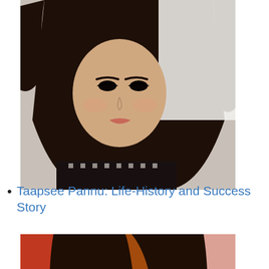[Figure (photo): Portrait photo of Taapsee Pannu, a woman with dark flowing hair, wearing a black and white patterned outfit]
Taapsee Pannu: Life-History and Success Story
[Figure (photo): Portrait photo of Tamannaah Arora, a young woman with dark hair and colorful highlights, looking at camera]
Tamannaah Arora Height, Weight, Age, Boyfriend, Family, Biography & More
[Figure (photo): Partial portrait photo of a woman with dark straight hair, shown from top of head to chin]